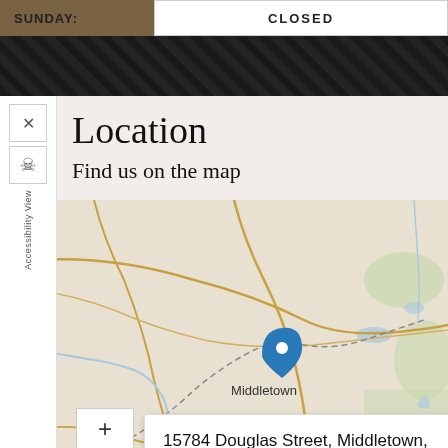SUNDAY:
CLOSED
Location
Find us on the map
[Figure (map): Interactive map showing Middletown, CA with a blue location pin. A popup displays the address: 15784 Douglas Street, Middletown, CA, 95461, US. Map zoom controls (+/-) visible on the left.]
15784 Douglas Street, Middletown, CA, 95461, US